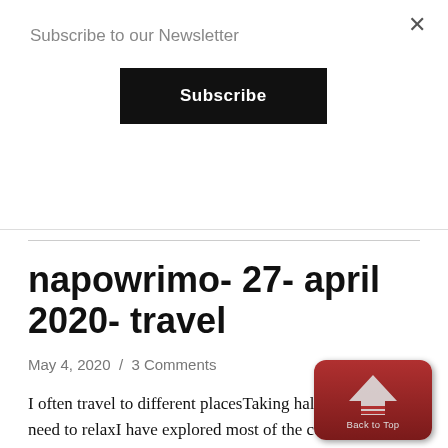Subscribe to our Newsletter
Subscribe
napowrimo- 27- april 2020- travel
May 4, 2020 / 3 Comments
I often travel to different placesTaking halts when I feel I need to relaxI have explored most of the corners of the cityRight from coffee shops, street markets, stations, beaches, religious places and
[Figure (illustration): Red rounded-rectangle 'Back to Top' button with an upward arrow icon and label 'Back to Top']